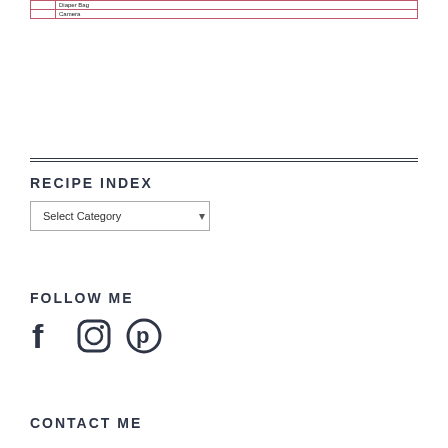|  |  |
| --- | --- |
|  | Diaper Bag |
|  | Camera |
RECIPE INDEX
Select Category
FOLLOW ME
[Figure (illustration): Social media icons: Facebook, Instagram, Pinterest]
CONTACT ME